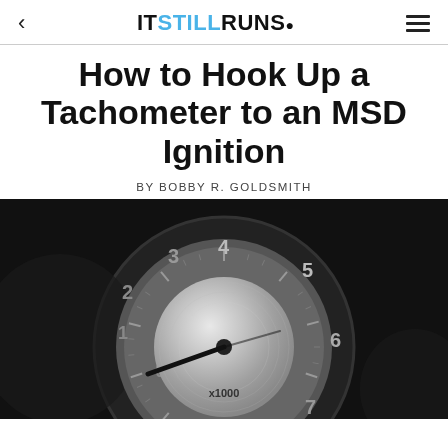< ITSTILLRUNS. ≡
How to Hook Up a Tachometer to an MSD Ignition
BY BOBBY R. GOLDSMITH
[Figure (photo): Close-up black and white photograph of a tachometer gauge showing dial markings 0-7 (x1000 RPM), with a needle pointer and the label RPM at the bottom.]